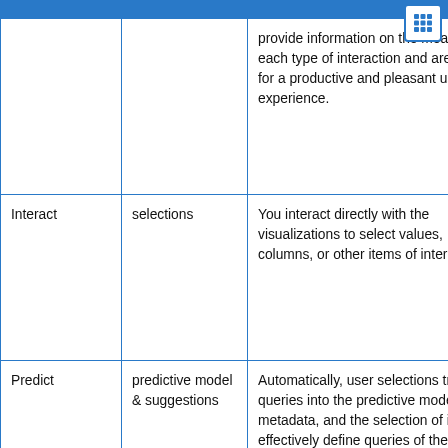|  |  |  |
| --- | --- | --- |
|  |  | provide information on the meaning of each type of interaction and are critical for a productive and pleasant user experience. |
| Interact | selections | You interact directly with the visualizations to select values, columns, or other items of interest. |
| Predict | predictive model & suggestions | Automatically, user selections trigger queries into the predictive model. Data, metadata, and the selection of it effectively define queries of the predictive model. The model returns a set of suggested transforms. The suggestions guide you toward recommended actions on items that you has decided, through the direct interactions. Y... |